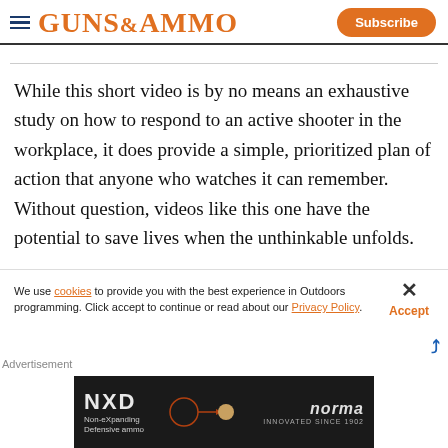GUNS&AMMO — Subscribe
While this short video is by no means an exhaustive study on how to respond to an active shooter in the workplace, it does provide a simple, prioritized plan of action that anyone who watches it can remember. Without question, videos like this one have the potential to save lives when the unthinkable unfolds.
We use cookies to provide you with the best experience in Outdoors programming. Click accept to continue or read about our Privacy Policy.
[Figure (photo): NXD Non-eXpanding Defensive ammo advertisement banner with norma branding on dark background]